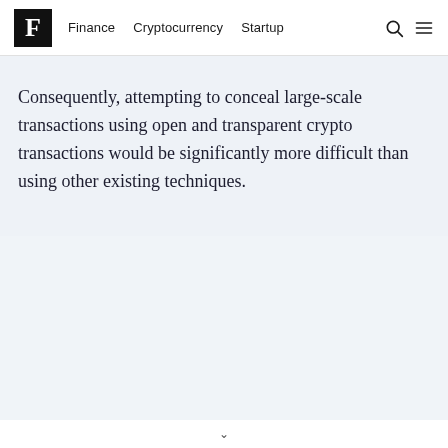F  Finance  Cryptocurrency  Startup
Consequently, attempting to conceal large-scale transactions using open and transparent crypto transactions would be significantly more difficult than using other existing techniques.